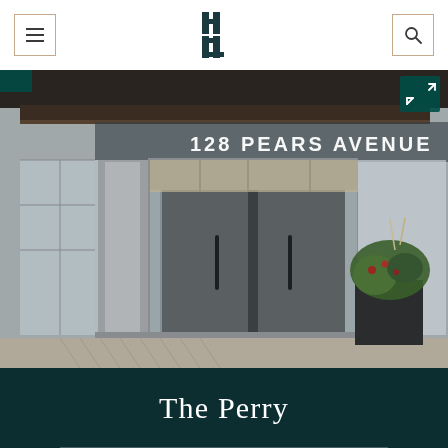Navigation bar with hamburger menu, centered H logo, and search icon
[Figure (photo): Building entrance of 128 Pears Avenue — a modern condominium lobby with large grey double doors, glass panels, illuminated address signage reading '128 PEARS AVENUE', stone facade columns, and decorative planters with holiday greenery in front.]
The Perry